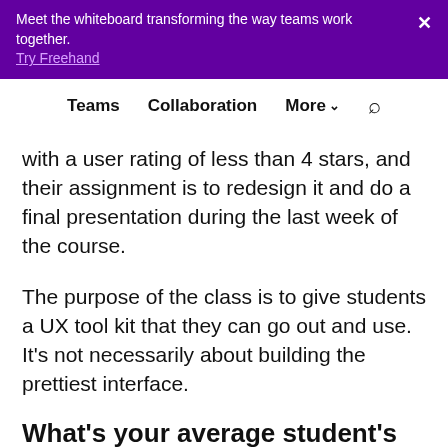Meet the whiteboard transforming the way teams work together. Try Freehand ×
Teams  Collaboration  More ▾  🔍
with a user rating of less than 4 stars, and their assignment is to redesign it and do a final presentation during the last week of the course.
The purpose of the class is to give students a UX tool kit that they can go out and use. It's not necessarily about building the prettiest interface.
What's your average student's experience level with design?
Most of them are close to graduating, so in terms of a college level, they're junior to senior. As for